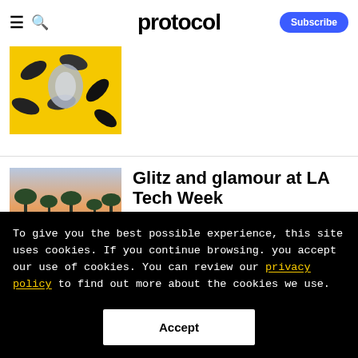protocol
[Figure (photo): Yellow background with sneakers/shoes scattered around, top-left image]
Glitz and glamour at LA Tech Week
[Figure (photo): Outdoor photo with palm trees against a colorful sunset sky]
To give you the best possible experience, this site uses cookies. If you continue browsing. you accept our use of cookies. You can review our privacy policy to find out more about the cookies we use.
Accept